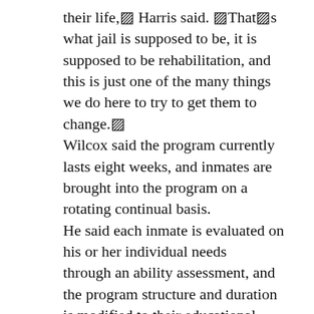their life,▨ Harris said. ▨That▨s what jail is supposed to be, it is supposed to be rehabilitation, and this is just one of the many things we do here to try to get them to change.▨ Wilcox said the program currently lasts eight weeks, and inmates are brought into the program on a rotating continual basis. He said each inmate is evaluated on his or her individual needs through an ability assessment, and the program structure and duration is modified to their educational needs. Despite Harris▨ praise, Wilcox said the key to success or failure in the program comes down to effort on the part of the student. ▨You have to apply yourself,▨ Wilcox said.